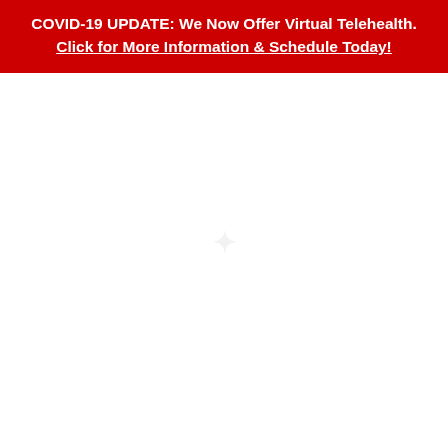COVID-19 UPDATE: We Now Offer Virtual Telehealth.
Click for More Information & Schedule Today!